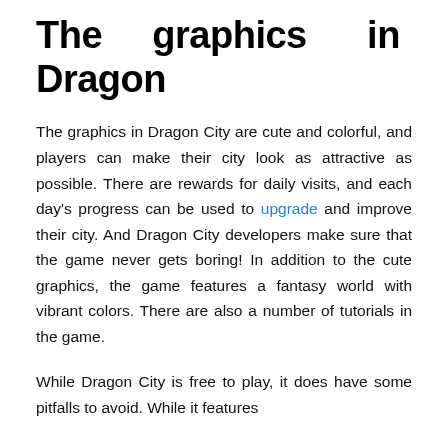The graphics in Dragon
The graphics in Dragon City are cute and colorful, and players can make their city look as attractive as possible. There are rewards for daily visits, and each day's progress can be used to upgrade and improve their city. And Dragon City developers make sure that the game never gets boring! In addition to the cute graphics, the game features a fantasy world with vibrant colors. There are also a number of tutorials in the game.
While Dragon City is free to play, it does have some pitfalls to avoid. While it features